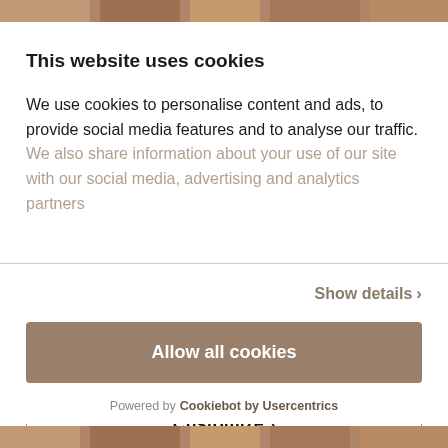[Figure (photo): Top photo strip showing people, partially cropped]
This website uses cookies
We use cookies to personalise content and ads, to provide social media features and to analyse our traffic. We also share information about your use of our site with our social media, advertising and analytics partners
Show details ›
Allow all cookies
Customize ›
Powered by Cookiebot by Usercentrics
[Figure (photo): Bottom photo strip showing people, partially cropped]